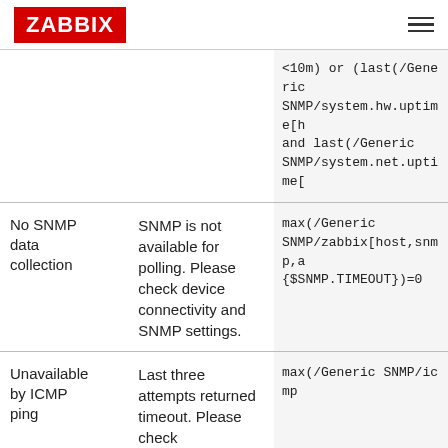ZABBIX
| Name | Description | Expression |
| --- | --- | --- |
|  | <10m) or (last(/Generic SNMP/system.hw.uptime[h... and last(/Generic SNMP/system.net.uptime[... | (truncated expression continued) |
| No SNMP data collection | SNMP is not available for polling. Please check device connectivity and SNMP settings. | max(/Generic SNMP/zabbix[host,snmp,a... {$SNMP.TIMEOUT})=0 |
| Unavailable by ICMP ping | Last three attempts returned timeout. Please check... | max(/Generic SNMP/icmp... |